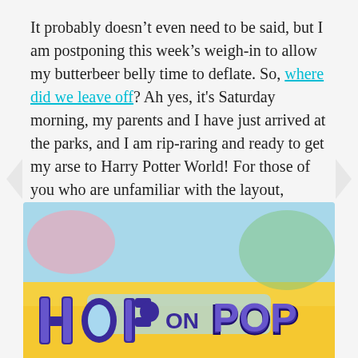It probably doesn't even need to be said, but I am postponing this week's weigh-in to allow my butterbeer belly time to deflate. So, where did we leave off? Ah yes, it's Saturday morning, my parents and I have just arrived at the parks, and I am rip-raring and ready to get my arse to Harry Potter World! For those of you who are unfamiliar with the layout, Universal Orlando is split in two: Universal Studios park and Islands of Adventure. The latter is the one that houses the Wizarding World of Harry Potter, which is a section of the park along with others themed around things like Marvel superheroes, Jurassic Park, and Dr. Seuss.
[Figure (photo): Photo of a 'Hop on Pop' Dr. Seuss themed sign at Universal Orlando, with purple 3D letters on a yellow background, taken at the park.]